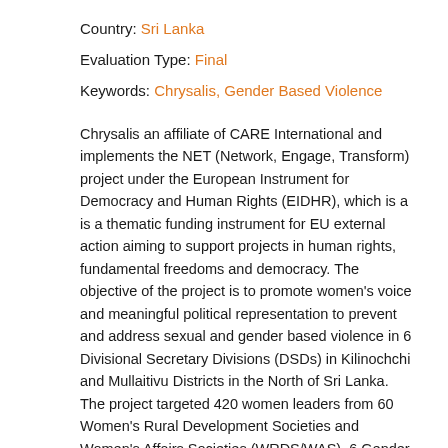Country: Sri Lanka
Evaluation Type: Final
Keywords: Chrysalis, Gender Based Violence
Chrysalis an affiliate of CARE International and implements the NET (Network, Engage, Transform) project under the European Instrument for Democracy and Human Rights (EIDHR), which is a is a thematic funding instrument for EU external action aiming to support projects in human rights, fundamental freedoms and democracy. The objective of the project is to promote women's voice and meaningful political representation to prevent and address sexual and gender based violence in 6 Divisional Secretary Divisions (DSDs) in Kilinochchi and Mullaitivu Districts in the North of Sri Lanka.
The project targeted 420 women leaders from 60 Women's Rural Development Societies and Women's Affairs Societies (WRDS/WAS), 6 Gender-based Violence Forums and other networks, including 60 State officials working for the benefit of 60,000 women spread over 6 Divisional Secretariat Division (DSDs) in Mullaitivu and Kilinochchi. Chrysalis partnered with the Women's Action Network for Transformation (WANT) and the